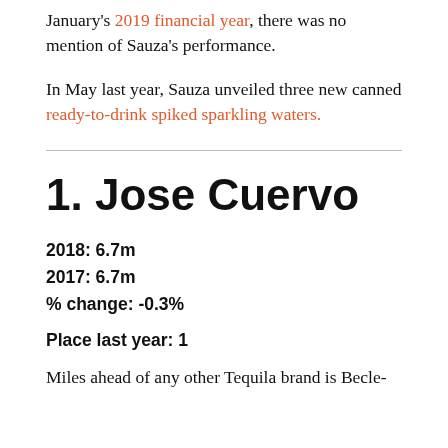January's 2019 financial year, there was no mention of Sauza's performance.
In May last year, Sauza unveiled three new canned ready-to-drink spiked sparkling waters.
1. Jose Cuervo
2018: 6.7m
2017: 6.7m
% change: -0.3%
Place last year: 1
Miles ahead of any other Tequila brand is Becle-